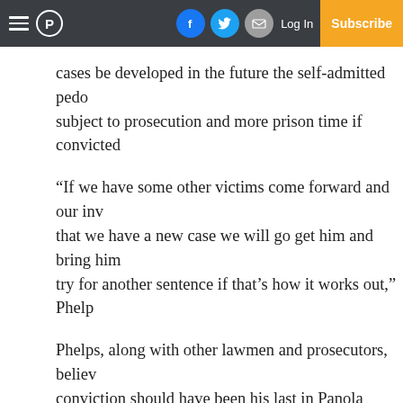Navigation bar with hamburger menu, P logo, Facebook, Twitter, Email icons, Log In, Subscribe
cases be developed in the future the self-admitted pedo subject to prosecution and more prison time if convicted
“If we have some other victims come forward and our inv that we have a new case we will go get him and bring him try for another sentence if that’s how it works out,” Phelp
Phelps, along with other lawmen and prosecutors, believ conviction should have been his last in Panola County, a he has lived and worked freely in Sardis for the past few being seen in the company of children.
Saripkin involved himself in the Sardis community, espe